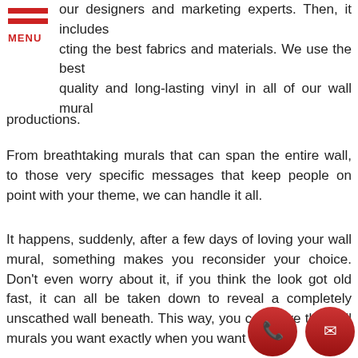[Figure (logo): Hamburger menu icon with two red horizontal bars and red MENU text below]
our designers and marketing experts. Then, it includes cting the best fabrics and materials. We use the best quality and long-lasting vinyl in all of our wall mural productions.
From breathtaking murals that can span the entire wall, to those very specific messages that keep people on point with your theme, we can handle it all.
It happens, suddenly, after a few days of loving your wall mural, something makes you reconsider your choice. Don't even worry about it, if you think the look got old fast, it can all be taken down to reveal a completely unscathed wall beneath. This way, you can have the wall murals you want exactly when you want them.
[Figure (other): Red rounded rectangle button with white bold text: GET A FREE QUOTE with hand pointer icon]
Full-Service Wall Vinyl Company
[Figure (other): Two red circular icon buttons: phone icon and mail/envelope icon]